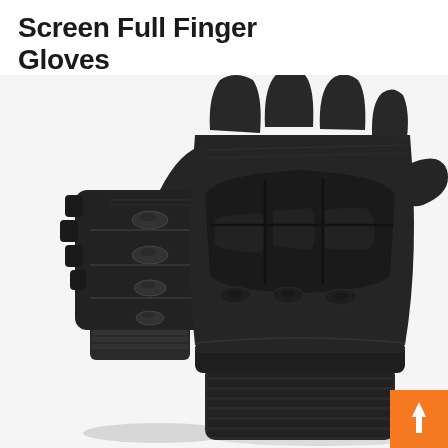Screen Full Finger Gloves
[Figure (photo): Two black tactical full-finger gloves with hard knuckle protection and oval grip pads. The left glove is shown in a closed fist position from the side/back, revealing hard knuckle guards and finger protection. The right (larger) glove is shown from the back/top at an angle, displaying a large hard knuckle guard panel, oval grip details on the fingers, and a ribbed wrist cuff. An orange square badge with an upward arrow appears in the bottom-right corner.]